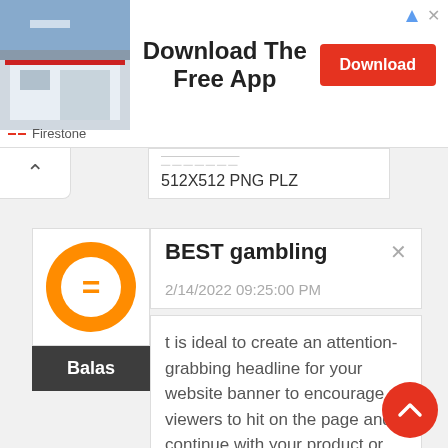[Figure (screenshot): Advertisement banner: Firestone store photo on left, 'Download The Free App' text in center, red Download button on right, small ad icons top-right, Firestone brand logo bottom-left]
512X512 PNG PLZ
BEST gambling
2/14/2022 09:25:00 PM
t is ideal to create an attention-grabbing headline for your website banner to encourage viewers to hit on the page and continue with your product or services.